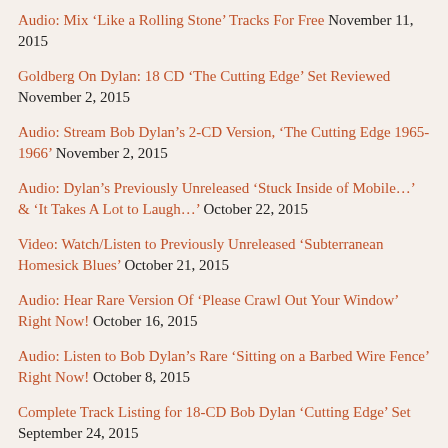Audio: Mix 'Like a Rolling Stone' Tracks For Free November 11, 2015
Goldberg On Dylan: 18 CD 'The Cutting Edge' Set Reviewed November 2, 2015
Audio: Stream Bob Dylan's 2-CD Version, 'The Cutting Edge 1965-1966' November 2, 2015
Audio: Dylan's Previously Unreleased 'Stuck Inside of Mobile…' & 'It Takes A Lot to Laugh…' October 22, 2015
Video: Watch/Listen to Previously Unreleased 'Subterranean Homesick Blues' October 21, 2015
Audio: Hear Rare Version Of 'Please Crawl Out Your Window' Right Now! October 16, 2015
Audio: Listen to Bob Dylan's Rare 'Sitting on a Barbed Wire Fence' Right Now! October 8, 2015
Complete Track Listing for 18-CD Bob Dylan 'Cutting Edge' Set September 24, 2015
Bob Dylan 18-Disc Electric Years Official Bootleg Due September 24, 2015